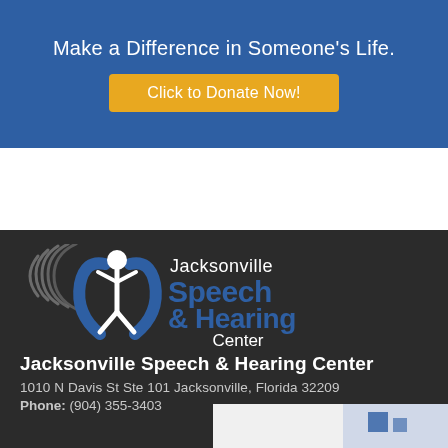Make a Difference in Someone's Life.
Click to Donate Now!
[Figure (logo): Jacksonville Speech & Hearing Center logo with sound wave arcs and figure design]
Jacksonville Speech & Hearing Center
1010 N Davis St Ste 101 Jacksonville, Florida 32209
Phone: (904) 355-3403
[Figure (photo): Partial image at bottom of page]